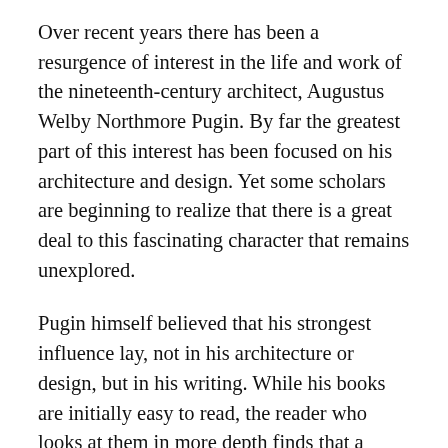Over recent years there has been a resurgence of interest in the life and work of the nineteenth-century architect, Augustus Welby Northmore Pugin. By far the greatest part of this interest has been focused on his architecture and design. Yet some scholars are beginning to realize that there is a great deal to this fascinating character that remains unexplored.
Pugin himself believed that his strongest influence lay, not in his architecture or design, but in his writing. While his books are initially easy to read, the reader who looks at them in more depth finds that a puzzling picture emerges due to Pugin's many references to religious, historical and liturgical terms. Clearly his books are not solely about architecture; neither are the sources and authorities he used for these